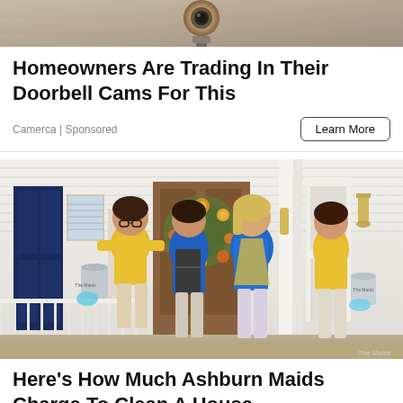[Figure (photo): Close-up photo of a doorbell camera or similar device on a stone/concrete wall surface]
Homeowners Are Trading In Their Doorbell Cams For This
Camerca | Sponsored
Learn More
[Figure (photo): Four women in yellow and blue cleaning uniforms (The Maids) standing in front of a house entrance decorated with a fall floral wreath. They are holding cleaning supplies including buckets and a binder.]
Here's How Much Ashburn Maids Charge To Clean A House